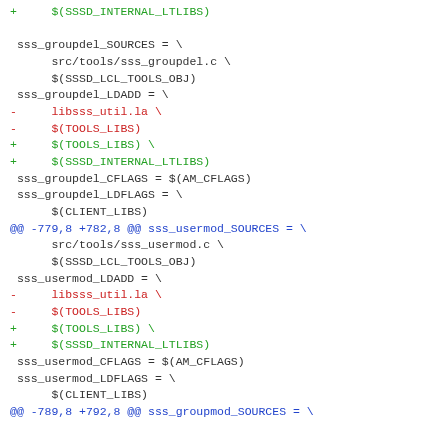+    $(SSSD_INTERNAL_LTLIBS)

 sss_groupdel_SOURCES = \
      src/tools/sss_groupdel.c \
      $(SSSD_LCL_TOOLS_OBJ)
 sss_groupdel_LDADD = \
-     libsss_util.la \
-     $(TOOLS_LIBS)
+     $(TOOLS_LIBS) \
+     $(SSSD_INTERNAL_LTLIBS)
 sss_groupdel_CFLAGS = $(AM_CFLAGS)
 sss_groupdel_LDFLAGS = \
      $(CLIENT_LIBS)
@@ -779,8 +782,8 @@ sss_usermod_SOURCES = \
      src/tools/sss_usermod.c \
      $(SSSD_LCL_TOOLS_OBJ)
 sss_usermod_LDADD = \
-     libsss_util.la \
-     $(TOOLS_LIBS)
+     $(TOOLS_LIBS) \
+     $(SSSD_INTERNAL_LTLIBS)
 sss_usermod_CFLAGS = $(AM_CFLAGS)
 sss_usermod_LDFLAGS = \
      $(CLIENT_LIBS)
@@ -789,8 +792,8 @@ sss_groupmod_SOURCES = \